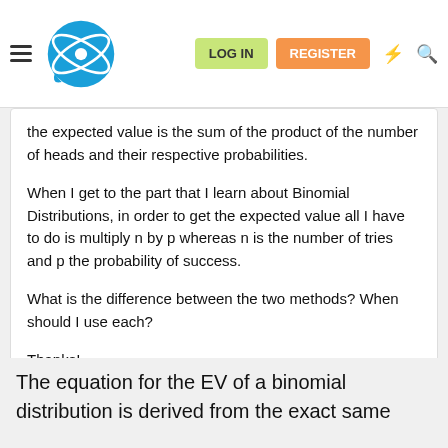LOG IN  REGISTER
the expected value is the sum of the product of the number of heads and their respective probabilities.
When I get to the part that I learn about Binomial Distributions, in order to get the expected value all I have to do is multiply n by p whereas n is the number of tries and p the probability of success.
What is the difference between the two methods? When should I use each?
Thanks!
The equation for the EV of a binomial distribution is derived from the exact same